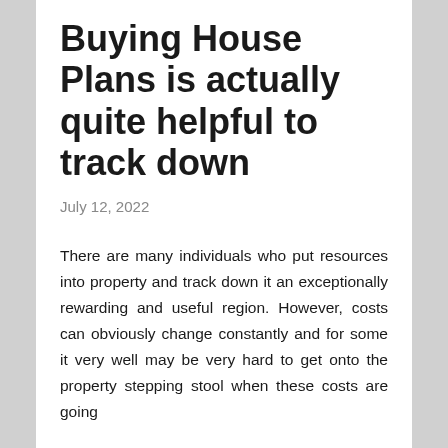Buying House Plans is actually quite helpful to track down
July 12, 2022
There are many individuals who put resources into property and track down it an exceptionally rewarding and useful region. However, costs can obviously change constantly and for some it very well may be very hard to get onto the property stepping stool when these costs are going